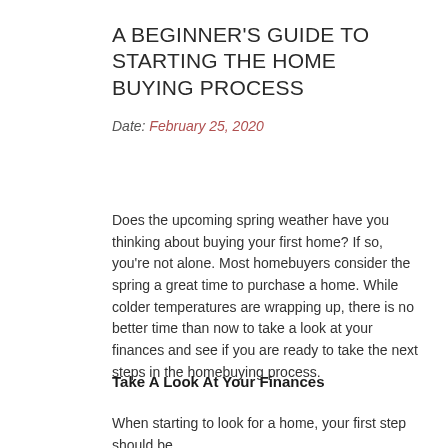A BEGINNER'S GUIDE TO STARTING THE HOME BUYING PROCESS
Date: February 25, 2020
Does the upcoming spring weather have you thinking about buying your first home? If so, you're not alone. Most homebuyers consider the spring a great time to purchase a home. While colder temperatures are wrapping up, there is no better time than now to take a look at your finances and see if you are ready to take the next steps in the homebuying process.
Take A Look At Your Finances
When starting to look for a home, your first step should be